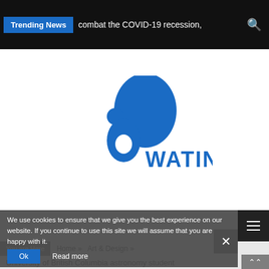Trending News  combat the COVID-19 recession,
[Figure (logo): Watinet logo: blue abstract figure with a large blue teardrop/circle shape and the text WATINET in bold blue letters]
We use cookies to ensure that we give you the best experience on our website. If you continue to use this site we will assume that you are happy with it.
Ok    Read more
You are Here   Home » Art & Design »
University of British Columbia astronomy student